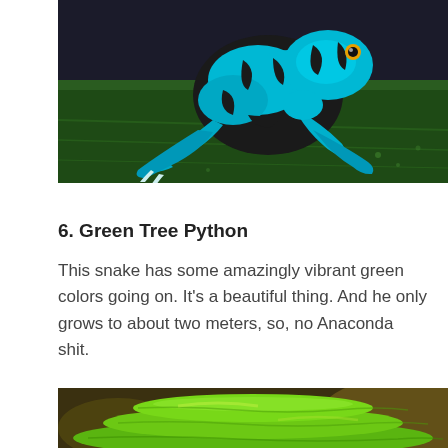[Figure (photo): A blue and black poison dart frog sitting on a large green leaf, viewed from the side. The frog has vivid cyan-blue and dark brown/black patterning.]
6. Green Tree Python
This snake has some amazingly vibrant green colors going on. It’s a beautiful thing. And he only grows to about two meters, so, no Anaconda shit.
[Figure (photo): A coiled green tree python with bright lime-green scales, viewed close up.]